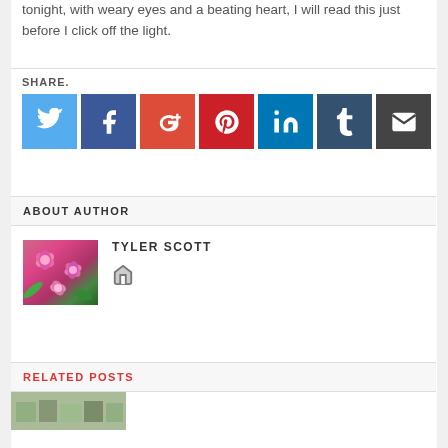tonight, with weary eyes and a beating heart, I will read this just before I click off the light.
SHARE.
[Figure (infographic): Social sharing buttons: Twitter (light blue), Facebook (dark blue), Google+ (orange-red), Pinterest (red), LinkedIn (blue), Tumblr (dark blue-grey), Email (dark grey)]
ABOUT AUTHOR
[Figure (photo): Photo of pink flowers (azaleas), used as author avatar for Tyler Scott]
TYLER SCOTT
[Figure (illustration): Home/website icon]
RELATED POSTS
[Figure (photo): Partial thumbnail image for related posts section showing a green/grey outdoor scene]